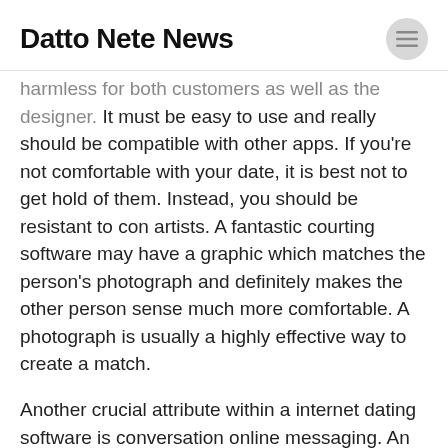Datto Nete News
harmless for both customers as well as the designer. It must be easy to use and really should be compatible with other apps. If you're not comfortable with your date, it is best not to get hold of them. Instead, you should be resistant to con artists. A fantastic courting software may have a graphic which matches the person's photograph and definitely makes the other person sense much more comfortable. A photograph is usually a highly effective way to create a match.
Another crucial attribute within a internet dating software is conversation online messaging. An entire-highlighted speak to in-software conversation will keep individuals for the platform. You need to offer the choice of tone of voice notes